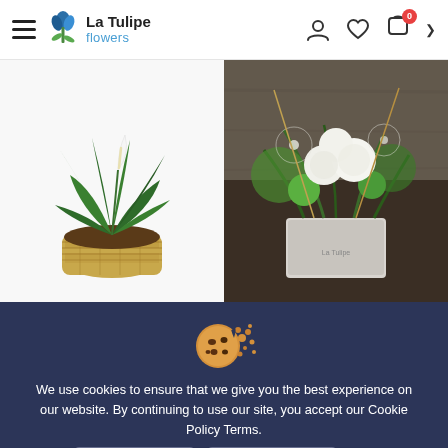La Tulipe Flowers — navigation header with hamburger menu, logo, account icon, wishlist icon, cart icon (badge: 0), and chevron
[Figure (photo): Peace lily plant in a woven basket pot, white flower, green leaves, white background]
[Figure (photo): White and green floral arrangement with roses and greenery in a square white container on a dark wood surface]
[Figure (illustration): Cookie emoji icon with crumbs scattering]
We use cookies to ensure that we give you the best experience on our website. By continuing to use our site, you accept our Cookie Policy Terms.
Privacy Policy   Accept Cookies   ×